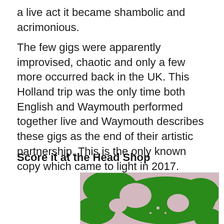a live act it became shambolic and acrimonious.
The few gigs were apparently improvised, chaotic and only a few more occurred back in the UK. This Holland trip was the only time both English and Waymouth performed together live and Waymouth describes these gigs as the end of their artistic partnership. This is the only known copy which came to light in 2017.
Score it at the Head Shop
[Figure (illustration): Album or poster artwork showing a green dragon or psychedelic figure on a pink/mauve background, with a star shape visible. The image is cropped and cut off at the bottom.]